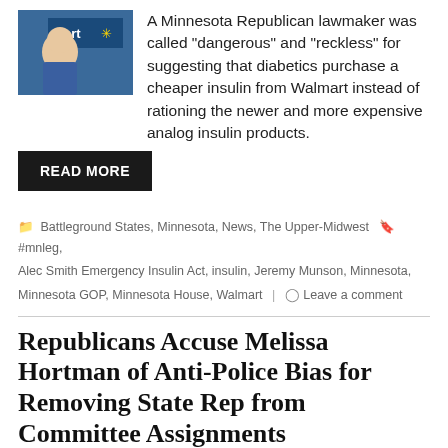[Figure (photo): Photo of a man smiling in front of a Walmart store sign]
A Minnesota Republican lawmaker was called “dangerous” and “reckless” for suggesting that diabetics purchase a cheaper insulin from Walmart instead of rationing the newer and more expensive analog insulin products.
READ MORE
Battleground States, Minnesota, News, The Upper-Midwest  #mnleg, Alec Smith Emergency Insulin Act, insulin, Jeremy Munson, Minnesota, Minnesota GOP, Minnesota House, Walmart  |  Leave a comment
Republicans Accuse Melissa Hortman of Anti-Police Bias for Removing State Rep from Committee Assignments
August 30, 2019   Anthony Gockowski
[Figure (photo): Photo of two people in front of a government building]
Republicans are criticizing Minnesota House Speaker Melissa Hortman (DFL-Brooklyn Park)